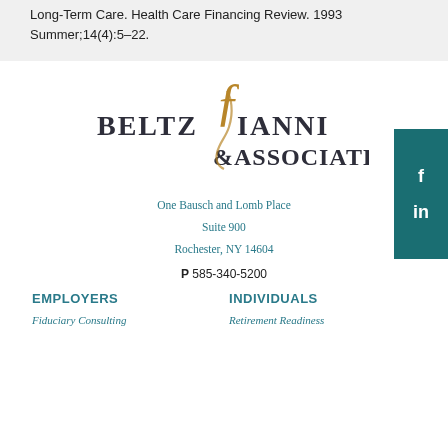Long-Term Care. Health Care Financing Review. 1993 Summer;14(4):5–22.
[Figure (logo): Beltz Ianni & Associates logo with decorative gold ampersand]
One Bausch and Lomb Place
Suite 900
Rochester, NY 14604
P 585-340-5200
EMPLOYERS
INDIVIDUALS
Fiduciary Consulting
Retirement Readiness